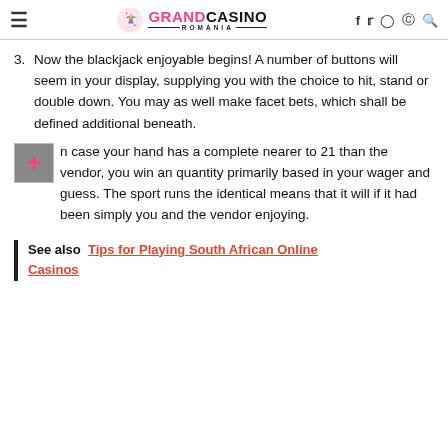Grand Casino Romania
3. Now the blackjack enjoyable begins! A number of buttons will seem in your display, supplying you with the choice to hit, stand or double down. You may as well make facet bets, which shall be defined additional beneath.
In case your hand has a complete nearer to 21 than the vendor, you win an quantity primarily based in your wager and guess. The sport runs the identical means that it will if it had been simply you and the vendor enjoying.
See also  Tips for Playing South African Online Casinos